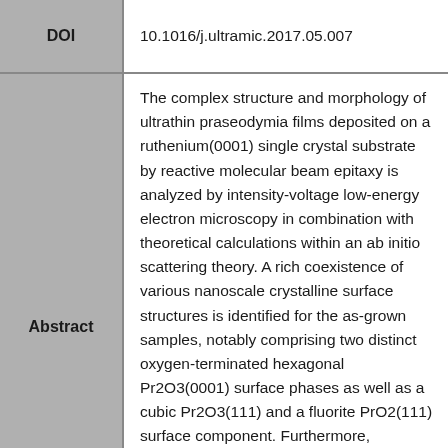| Field | Value |
| --- | --- |
| DOI | 10.1016/j.ultramic.2017.05.007 |
| Abstract | The complex structure and morphology of ultrathin praseodymia films deposited on a ruthenium(0001) single crystal substrate by reactive molecular beam epitaxy is analyzed by intensity-voltage low-energy electron microscopy in combination with theoretical calculations within an ab initio scattering theory. A rich coexistence of various nanoscale crystalline surface structures is identified for the as-grown samples, notably comprising two distinct oxygen-terminated hexagonal Pr2O3(0001) surface phases as well as a cubic Pr2O3(111) and a fluorite PrO2(111) surface component. Furthermore, scattering theory reveals a striking similarity between the electron reflectivity spectra of praseodymia and ceria due to very efficient screening of the nuclear charge by the extra 4f electrons in the former. |